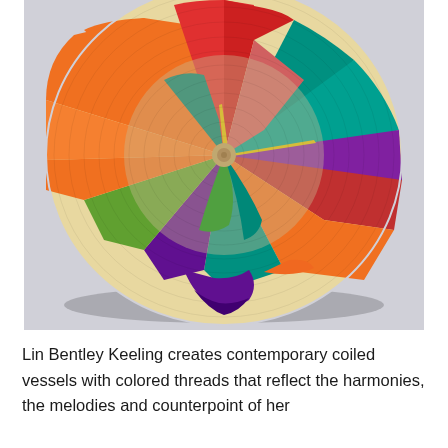[Figure (photo): A colorful contemporary coiled basket/vessel viewed from above, showing intricate spiral coiling with vibrant colored threads in orange, red, teal, green, purple, yellow, and pink forming abstract patterns radiating from the center against a light gray background.]
Lin Bentley Keeling creates contemporary coiled vessels with colored threads that reflect the harmonies, the melodies and counterpoint of her